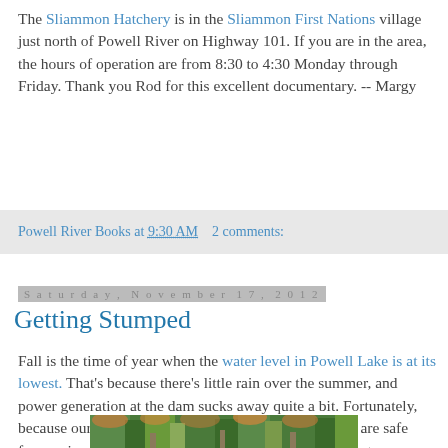The Sliammon Hatchery is in the Sliammon First Nations village just north of Powell River on Highway 101. If you are in the area, the hours of operation are from 8:30 to 4:30 Monday through Friday. Thank you Rod for this excellent documentary. -- Margy
Powell River Books at 9:30 AM   2 comments:
Saturday, November 17, 2012
Getting Stumped
Fall is the time of year when the water level in Powell Lake is at its lowest. That's because there's little rain over the summer, and power generation at the dam sucks away quite a bit. Fortunately, because our float cabin is in about 90 feet of water, we are safe from going aground. The up side to the dry season is that,many submerged stumps emerge to provide a more "decorative" shoreline.
[Figure (photo): Photo of trees and stumps near Powell Lake shoreline]